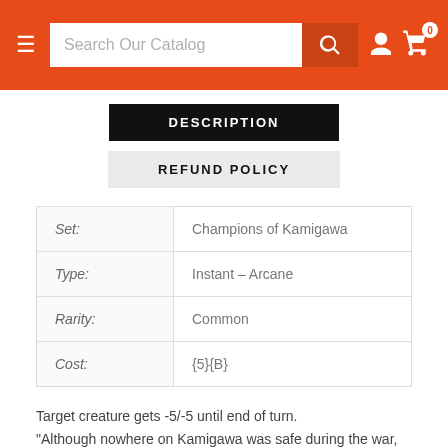Search Our Catalog
DESCRIPTION
REFUND POLICY
|  |  |
| --- | --- |
| Set: | Champions of Kamigawa |
| Type: | Instant – Arcane |
| Rarity: | Common |
| Cost: | {5}{B} |
Target creature gets -5/-5 until end of turn.
"Although nowhere on Kamigawa was safe during the war, the Takenuma Swamp was the most horrifying. The rotting bamboo itself rebelled against its mortal